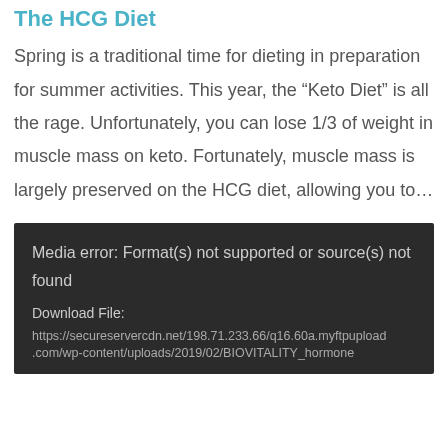The HCG Diet
Spring is a traditional time for dieting in preparation for summer activities. This year, the “Keto Diet” is all the rage. Unfortunately, you can lose 1/3 of weight in muscle mass on keto. Fortunately, muscle mass is largely preserved on the HCG diet, allowing you to…
[Figure (screenshot): Dark media player error box showing: 'Media error: Format(s) not supported or source(s) not found', 'Download File:', and URL 'https://secureservercdn.net/198.71.233.66/q16.60a.myftpupload.com/wp-content/uploads/2019/02/BIOVITALITY_hormone...']